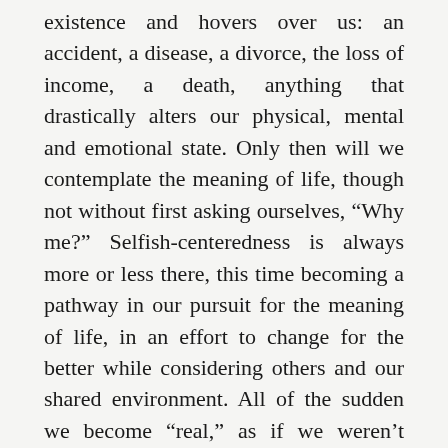existence and hovers over us: an accident, a disease, a divorce, the loss of income, a death, anything that drastically alters our physical, mental and emotional state. Only then will we contemplate the meaning of life, though not without first asking ourselves, “Why me?” Selfish-centeredness is always more or less there, this time becoming a pathway in our pursuit for the meaning of life, in an effort to change for the better while considering others and our shared environment. All of the sudden we become “real,” as if we weren’t before.
What is the meaning of life? For everyone, it is different depending on where we are physically, mentally and emotionally at any given time. One would hope, however, that